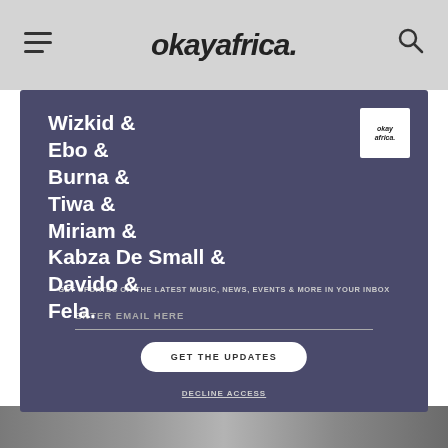okayafrica.
[Figure (screenshot): Newsletter signup overlay on okayafrica.com showing names list: Wizkid & Ebo & Burna & Tiwa & Miriam & Kabza De Small & Davido & Fela., with email signup form, GET THE UPDATES button, and DECLINE ACCESS link]
GET UPDATES ON THE LATEST MUSIC, NEWS, EVENTS & MORE IN YOUR INBOX
ENTER EMAIL HERE
GET THE UPDATES
DECLINE ACCESS